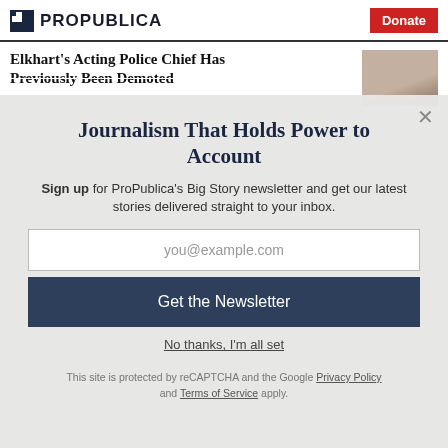ProPublica | Donate
Elkhart's Acting Police Chief Has Previously Been Demoted
Journalism That Holds Power to Account
Sign up for ProPublica's Big Story newsletter and get our latest stories delivered straight to your inbox.
you@example.com
Get the Newsletter
No thanks, I'm all set
This site is protected by reCAPTCHA and the Google Privacy Policy and Terms of Service apply.